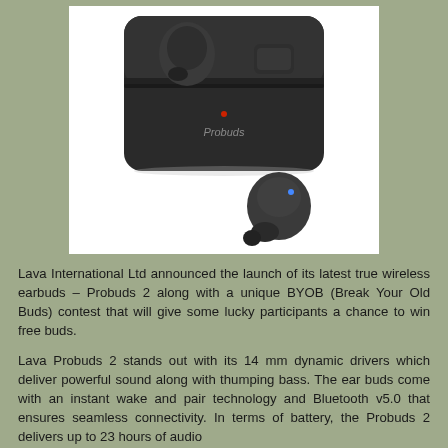[Figure (photo): Black Probuds 2 true wireless earbuds shown with charging case open, one earbud placed outside the case. The charging case is labeled 'Probuds' on the front. Background is white.]
Lava International Ltd announced the launch of its latest true wireless earbuds – Probuds 2 along with a unique BYOB (Break Your Old Buds) contest that will give some lucky participants a chance to win free buds.
Lava Probuds 2 stands out with its 14 mm dynamic drivers which deliver powerful sound along with thumping bass. The ear buds come with an instant wake and pair technology and Bluetooth v5.0 that ensures seamless connectivity. In terms of battery, the Probuds 2 delivers up to 23 hours of audio